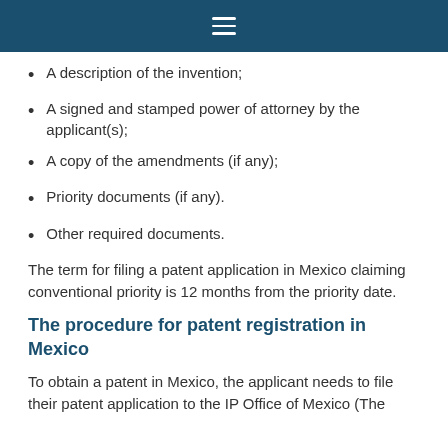☰
A description of the invention;
A signed and stamped power of attorney by the applicant(s);
A copy of the amendments (if any);
Priority documents (if any).
Other required documents.
The term for filing a patent application in Mexico claiming conventional priority is 12 months from the priority date.
The procedure for patent registration in Mexico
To obtain a patent in Mexico, the applicant needs to file their patent application to the IP Office of Mexico (The